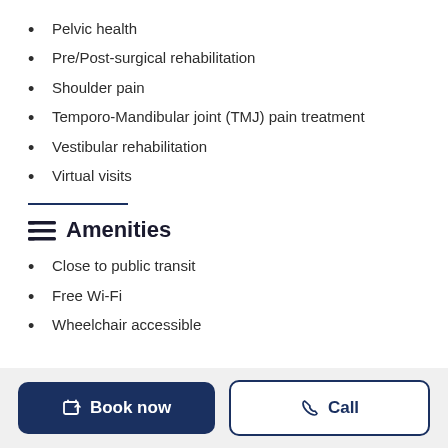Pelvic health
Pre/Post-surgical rehabilitation
Shoulder pain
Temporo-Mandibular joint (TMJ) pain treatment
Vestibular rehabilitation
Virtual visits
Amenities
Close to public transit
Free Wi-Fi
Wheelchair accessible
Book now
Call